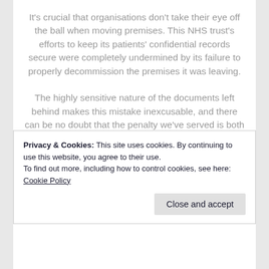It's crucial that organisations don't take their eye off the ball when moving premises. This NHS trust's efforts to keep its patients' confidential records secure were completely undermined by its failure to properly decommission the premises it was leaving.
The highly sensitive nature of the documents left behind makes this mistake inexcusable, and there can be no doubt that the penalty we've served is both necessary and appropriate.
In the last year we have served two six figure penalties on organisations that have left large volumes of personal information behind when leaving a site. These penalties highlight the need for organisations to have
Privacy & Cookies: This site uses cookies. By continuing to use this website, you agree to their use.
To find out more, including how to control cookies, see here: Cookie Policy
Close and accept